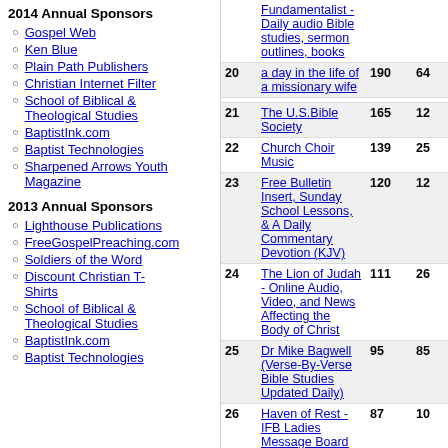2014 Annual Sponsors
Gospel Web
Ken Blue
Plain Path Publishers
Christian Internet Filter
School of Biblical & Theological Studies
BaptistInk.com
Baptist Technologies
Sharpened Arrows Youth Magazine
2013 Annual Sponsors
Lighthouse Publications
FreeGospelPreaching.com
Soldiers of the Word
Discount Christian T-Shirts
School of Biblical & Theological Studies
BaptistInk.com
Baptist Technologies
| # | Title | Stat1 | Stat2 |
| --- | --- | --- | --- |
|  | Fundamentalist - Daily audio Bible studies, sermon outlines, books |  |  |
| 20 | a day in the life of a missionary wife | 190 | 64 |
| 21 | The U.S.Bible Society | 165 | 12 |
| 22 | Church Choir Music | 139 | 25 |
| 23 | Free Bulletin Insert, Sunday School Lessons, & A Daily Commentary Devotion (KJV) | 120 | 12 |
| 24 | The Lion of Judah - Online Audio, Video, and News Affecting the Body of Christ | 111 | 26 |
| 25 | Dr Mike Bagwell (Verse-By-Verse Bible Studies Updated Daily) | 95 | 85 |
| 26 | Haven of Rest - IFB Ladies Message Board | 87 | 10 |
| 27 | Abba's Watchman - Babylon = Nuked ! Damascus a heap of ruin ! 4.00 stars | 85 | 95 |
| 28 | Bible Exposition + Bible research and memorization tools | 79 | 64 |
| 29 | Free Bible Resources Ministry - 3bible.com | 61 | 21 |
| 30 | South African Bible Believers | 58 | 71 |
| 31 | Cobblestone Road Ministries - Christian Apologetics, Bible Prophecy, Many Resources and Links | 50 | 53 |
| 32 | ChildCare Action Project (CAP) Ministry - Christian Movie | 48 | 43 |